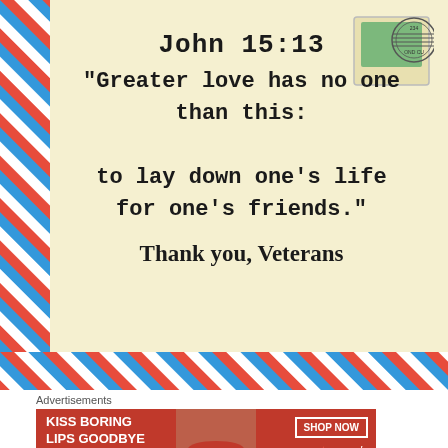[Figure (illustration): Airmail-style postcard with diagonal red and blue stripes on left border and bottom border, vintage cream/yellow background, postage stamp in top-right corner with circular cancellation mark.]
John 15:13
"Greater love has no one than this: to lay down one's life for one's friends."
Thank you, Veterans
Advertisements
[Figure (illustration): Red advertisement banner for Macy's lipstick product with text 'KISS BORING LIPS GOODBYE', a close-up photo of lips with red lipstick, and a 'SHOP NOW' button with Macy's star logo.]